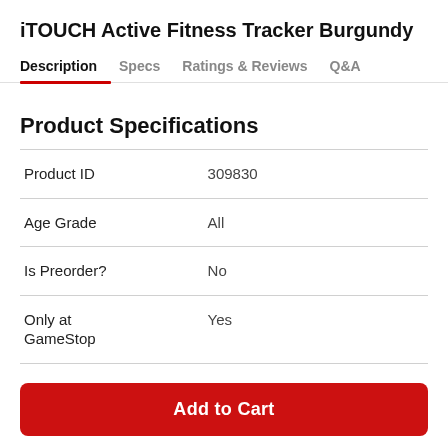iTOUCH Active Fitness Tracker Burgundy
Description | Specs | Ratings & Reviews | Q&A
Product Specifications
|  |  |
| --- | --- |
| Product ID | 309830 |
| Age Grade | All |
| Is Preorder? | No |
| Only at GameStop | Yes |
Add to Cart